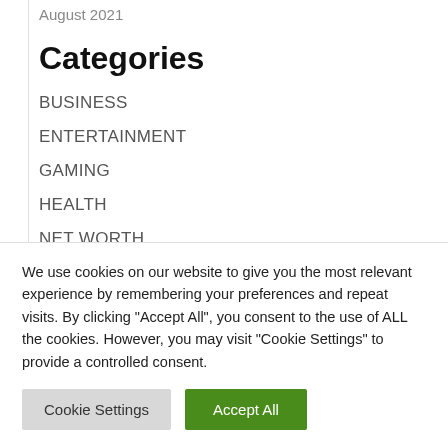August 2021
Categories
BUSINESS
ENTERTAINMENT
GAMING
HEALTH
NET WORTH
TECHNOLOGY
We use cookies on our website to give you the most relevant experience by remembering your preferences and repeat visits. By clicking "Accept All", you consent to the use of ALL the cookies. However, you may visit "Cookie Settings" to provide a controlled consent.
Cookie Settings | Accept All